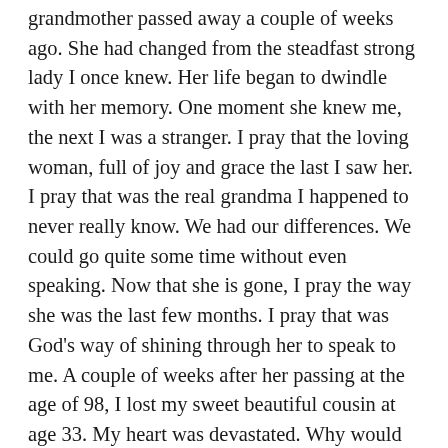grandmother passed away a couple of weeks ago. She had changed from the steadfast strong lady I once knew. Her life began to dwindle with her memory. One moment she knew me, the next I was a stranger. I pray that the loving woman, full of joy and grace the last I saw her. I pray that was the real grandma I happened to never really know. We had our differences. We could go quite some time without even speaking. Now that she is gone, I pray the way she was the last few months. I pray that was God's way of shining through her to speak to me. A couple of weeks after her passing at the age of 98, I lost my sweet beautiful cousin at age 33. My heart was devastated. Why would God take her so soon? In reflecting over the times we spent, my cousin was living a life full of grace. Her life was so full you could not help but be changed by her presence. Although her life was taken suddenly and what [...]